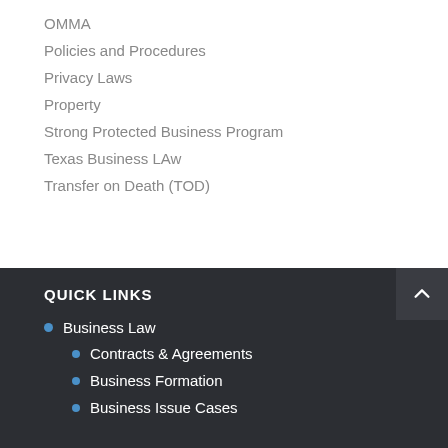OMMA
Policies and Procedures
Privacy Laws
Property
Strong Protected Business Program
Texas Business LAw
Transfer on Death (TOD)
QUICK LINKS
Business Law
Contracts & Agreements
Business Formation
Business Issue Cases